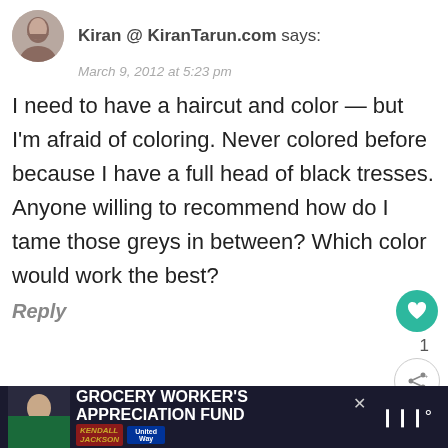[Figure (photo): User avatar photo of a woman]
Kiran @ KiranTarun.com says:
March 9, 2012 at 5:23 pm
I need to have a haircut and color — but I'm afraid of coloring. Never colored before because I have a full head of black tresses. Anyone willing to recommend how do I tame those greys in between? Which color would work the best?
Reply
WHAT'S NEXT → Pin It! Treadmill...
Alyssa @ fit and fun in third says:
[Figure (infographic): Advertisement banner: Grocery Worker's Appreciation Fund with Kendall Jackson and United Way logos]